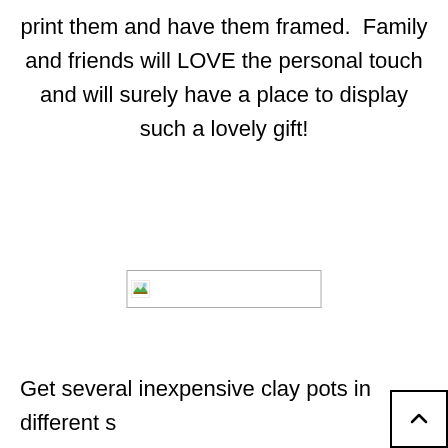print them and have them framed.  Family and friends will LOVE the personal touch and will surely have a place to display such a lovely gift!
[Figure (illustration): Broken/missing image placeholder with small landscape icon]
Get several inexpensive clay pots in different s